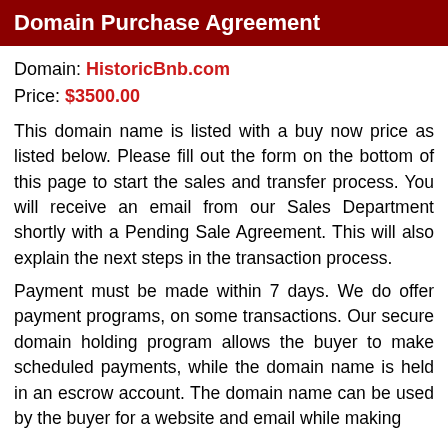Domain Purchase Agreement
Domain: HistoricBnb.com
Price: $3500.00
This domain name is listed with a buy now price as listed below. Please fill out the form on the bottom of this page to start the sales and transfer process. You will receive an email from our Sales Department shortly with a Pending Sale Agreement. This will also explain the next steps in the transaction process.
Payment must be made within 7 days. We do offer payment programs, on some transactions. Our secure domain holding program allows the buyer to make scheduled payments, while the domain name is held in an escrow account. The domain name can be used by the buyer for a website and email while making